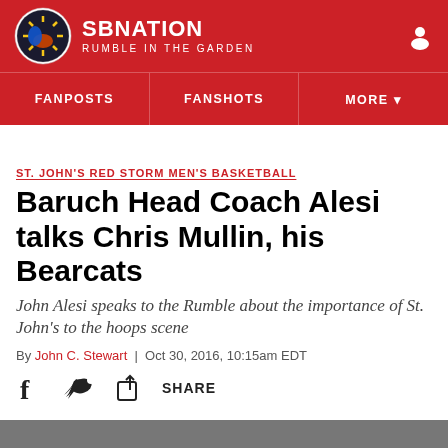SBNATION | RUMBLE IN THE GARDEN
ST. JOHN'S RED STORM MEN'S BASKETBALL
Baruch Head Coach Alesi talks Chris Mullin, his Bearcats
John Alesi speaks to the Rumble about the importance of St. John's to the hoops scene
By John C. Stewart | Oct 30, 2016, 10:15am EDT
[Figure (other): Social share bar with Facebook, Twitter, and Share icons]